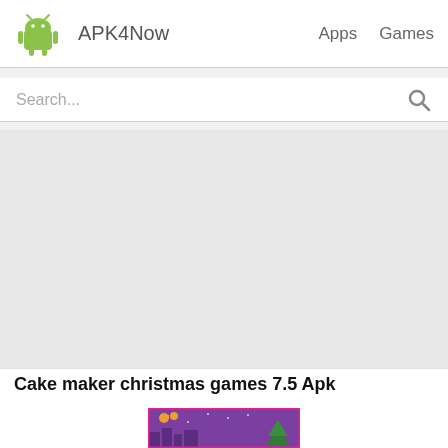APK4Now   Apps   Games
Search...
[Figure (screenshot): Large gray advertisement/banner placeholder area]
Cake maker christmas games 7.5 Apk
[Figure (screenshot): Game thumbnail showing a purple/violet Christmas themed game image with bells and a Christmas tree]